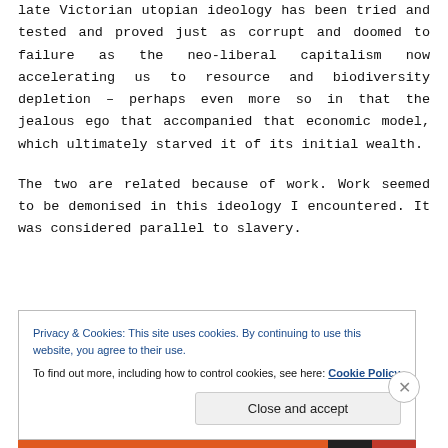late Victorian utopian ideology has been tried and tested and proved just as corrupt and doomed to failure as the neo-liberal capitalism now accelerating us to resource and biodiversity depletion – perhaps even more so in that the jealous ego that accompanied that economic model, which ultimately starved it of its initial wealth.
The two are related because of work. Work seemed to be demonised in this ideology I encountered. It was considered parallel to slavery.
Privacy & Cookies: This site uses cookies. By continuing to use this website, you agree to their use.
To find out more, including how to control cookies, see here: Cookie Policy